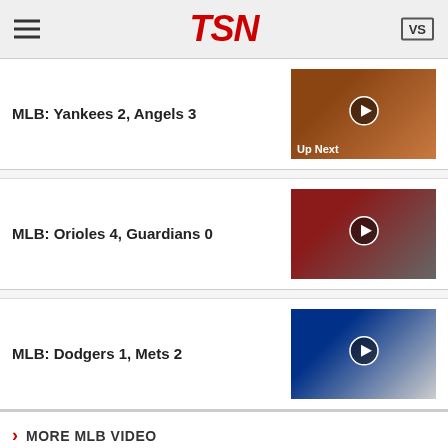TSN
MLB: Yankees 2, Angels 3
[Figure (photo): Baseball players on field, Angels game, with play button overlay and Up Next label]
MLB: Orioles 4, Guardians 0
[Figure (photo): Baseball catcher and pitcher with play button overlay]
MLB: Dodgers 1, Mets 2
[Figure (photo): Mets pitcher #48 throwing with play button overlay]
> MORE MLB VIDEO
Trade Tracker
[Figure (photo): Close-up photo of baseballs]